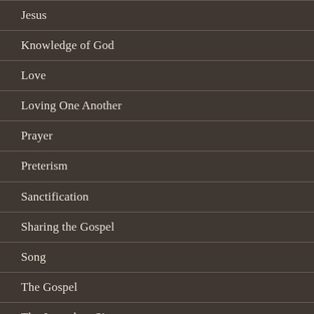Jesus
Knowledge of God
Love
Loving One Another
Prayer
Preterism
Sanctification
Sharing the Gospel
Song
The Gospel
The Jerusalem Sinner